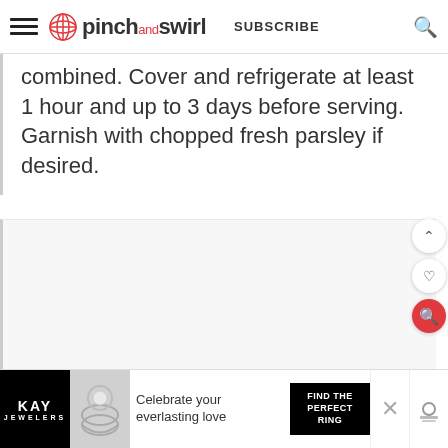pinch and swirl — SUBSCRIBE
combined. Cover and refrigerate at least 1 hour and up to 3 days before serving. Garnish with chopped fresh parsley if desired.
[Figure (other): Blank white/light gray content area placeholder]
[Figure (other): KAY Jewelers advertisement banner: 'Celebrate your everlasting love — FIND THE PERFECT RING']